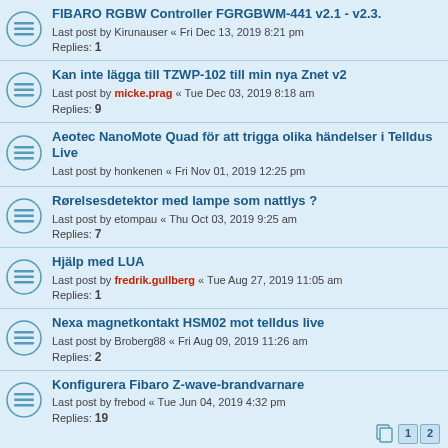FIBARO RGBW Controller FGRGBWM-441 v2.1 - v2.3. Last post by Kirunauser « Fri Dec 13, 2019 8:21 pm Replies: 1
Kan inte lägga till TZWP-102 till min nya Znet v2 Last post by micke.prag « Tue Dec 03, 2019 8:18 am Replies: 9
Aeotec NanoMote Quad för att trigga olika händelser i Telldus Live Last post by honkenen « Fri Nov 01, 2019 12:25 pm
Rørelsesdetektor med lampe som nattlys ? Last post by etompau « Thu Oct 03, 2019 9:25 am Replies: 7
Hjälp med LUA Last post by fredrik.gullberg « Tue Aug 27, 2019 11:05 am Replies: 1
Nexa magnetkontakt HSM02 mot telldus live Last post by Broberg88 « Fri Aug 09, 2019 11:26 am Replies: 2
Konfigurera Fibaro Z-wave-brandvarnare Last post by frebod « Tue Jun 04, 2019 4:32 pm Replies: 19
Konfigurera Fibaro Z-wave-brandvarnare... Last post by frebod « Mon May 20, 2019 12:11 pm
Stora problem med att ansluta enheter och kommunikation Last post by etompau « Wed May 15, 2019 4:48 am Replies: 8